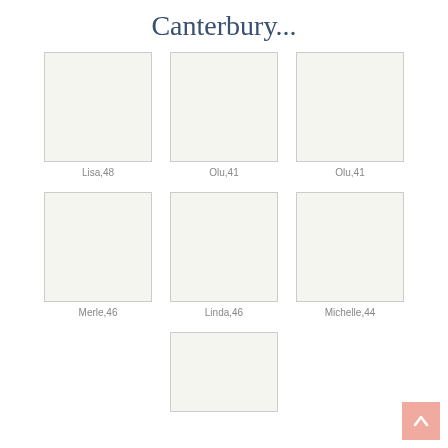Canterbury...
[Figure (photo): Placeholder photo box for Lisa, 48]
Lisa,48
[Figure (photo): Placeholder photo box for Olu, 41]
Olu,41
[Figure (photo): Placeholder photo box for Olu, 41]
Olu,41
[Figure (photo): Placeholder photo box for Merle, 46]
Merle,46
[Figure (photo): Placeholder photo box for Linda, 46]
Linda,46
[Figure (photo): Placeholder photo box for Michelle, 44]
Michelle,44
[Figure (photo): Placeholder photo box, partial bottom row]